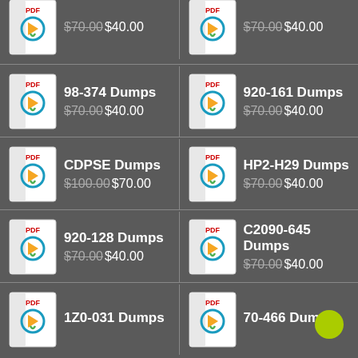$70.00 $40.00 (top left, partial)
$70.00 $40.00 (top right, partial)
98-374 Dumps $70.00 $40.00
920-161 Dumps $70.00 $40.00
CDPSE Dumps $100.00 $70.00
HP2-H29 Dumps $70.00 $40.00
920-128 Dumps $70.00 $40.00
C2090-645 Dumps $70.00 $40.00
1Z0-031 Dumps
70-466 Dumps